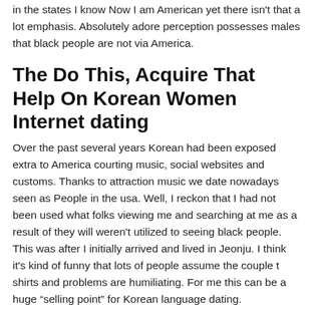in the states I know Now I am American yet there isn't that a lot emphasis. Absolutely adore perception possesses males that black people are not via America.
The Do This, Acquire That Help On Korean Women Internet dating
Over the past several years Korean had been exposed extra to America courting music, social websites and customs. Thanks to attraction music we date nowadays seen as People in the usa. Well, I reckon that I had not been used what folks viewing me and searching at me as a result of they will weren't utilized to seeing black people. This was after I initially arrived and lived in Jeonju. I think it's kind of funny that lots of people assume the couple t shirts and problems are humiliating. For me this can be a huge “selling point” for Korean language dating.
KoreanCupid is manage by undoubtedly one traditional korean brides of my most favourite on-line internet dating companies, Cupid Media. Cupid Media possesses sites that I've utilized to at this point like LatinAmericanCupid and Afrointroductions, after I